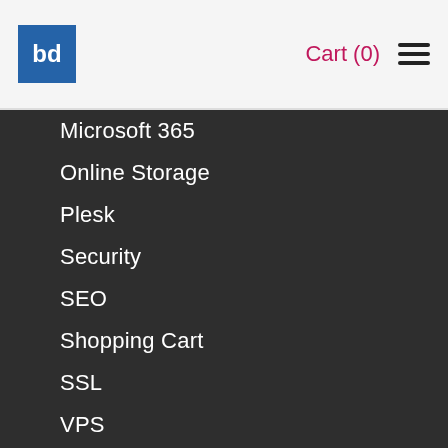bd  Cart (0) ☰
Microsoft 365
Online Storage
Plesk
Security
SEO
Shopping Cart
SSL
VPS
Website Backup
Website Builder
Website Security
Websites
WordPress
Workspace